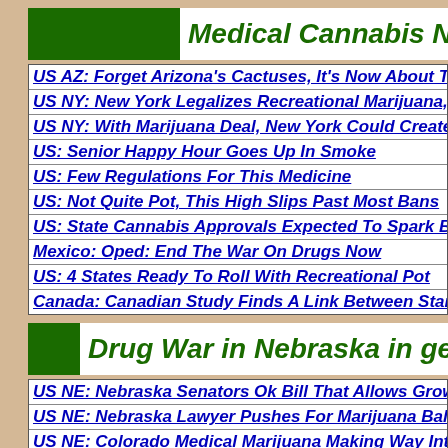Medical Cannabis N...
US AZ: Forget Arizona's Cactuses, It's Now About The Weed
US NY: New York Legalizes Recreational Marijuana, Tying M...
US NY: With Marijuana Deal, New York Could Create $4 Billi...
US: Senior Happy Hour Goes Up In Smoke
US: Few Regulations For This Medicine
US: Not Quite Pot, This High Slips Past Most Bans
US: State Cannabis Approvals Expected To Spark Boom
Mexico: Oped: End The War On Drugs Now
US: 4 States Ready To Roll With Recreational Pot
Canada: Canadian Study Finds A Link Between Starting Medic...
Drug War in Nebraska in ge...
US NE: Nebraska Senators Ok Bill That Allows Growing
US NE: Nebraska Lawyer Pushes For Marijuana Ballot Initiativ...
US NE: Colorado Medical Marijuana Making Way Into Nebrask...
US NE: Nebraska Sh... ...